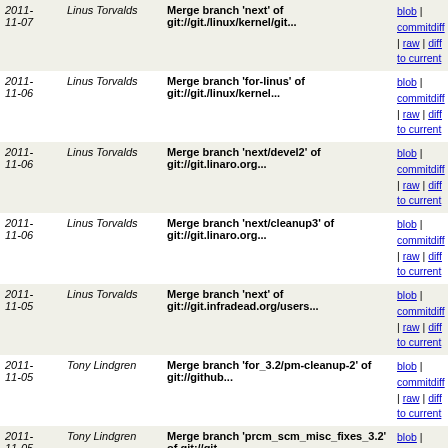| Date | Author | Commit Message | Links |
| --- | --- | --- | --- |
| 2011-11-07 | Linus Torvalds | Merge branch 'next' of git://git./linux/kernel/git... | blob | commitdiff | raw | diff to current |
| 2011-11-06 | Linus Torvalds | Merge branch 'for-linus' of git://git./linux/kernel... | blob | commitdiff | raw | diff to current |
| 2011-11-06 | Linus Torvalds | Merge branch 'next/devel2' of git://git.linaro.org... | blob | commitdiff | raw | diff to current |
| 2011-11-06 | Linus Torvalds | Merge branch 'next/cleanup3' of git://git.linaro.org... | blob | commitdiff | raw | diff to current |
| 2011-11-05 | Linus Torvalds | Merge branch 'next' of git://git.infradead.org/users... | blob | commitdiff | raw | diff to current |
| 2011-11-05 | Tony Lindgren | Merge branch 'for_3.2/pm-cleanup-2' of git://github... | blob | commitdiff | raw | diff to current |
| 2011-11-05 | Tony Lindgren | Merge branch 'prcm_scm_misc_fixes_3.2' of git://git... | blob | commitdiff | raw | diff to current |
| 2011-11-05 | Tony Lindgren | Merge branch 'omap_clock_fixes_3.2' of git://git.pwsan... | blob | commitdiff | raw | diff to current |
| 2011-11-05 | Linus Torvalds | Merge branch 'for-3.2/drivers' of git://git.kernel... | blob | commitdiff | raw | diff to current |
| 2011-11-05 | Linus Torvalds | Merge branch 'for-3.2/core' of git://git.kernel.dk... | blob | commitdiff | raw | diff to current |